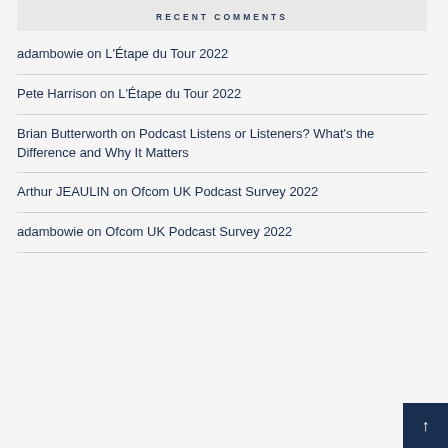RECENT COMMENTS
adambowie on L'Étape du Tour 2022
Pete Harrison on L'Étape du Tour 2022
Brian Butterworth on Podcast Listens or Listeners? What's the Difference and Why It Matters
Arthur JEAULIN on Ofcom UK Podcast Survey 2022
adambowie on Ofcom UK Podcast Survey 2022